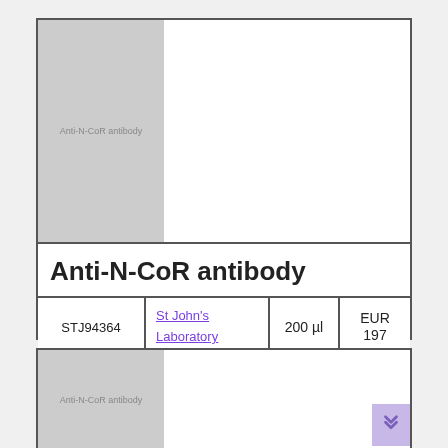[Figure (photo): Gray placeholder image with text 'Anti-N-CoR antibody']
Anti-N-CoR antibody
|  | Supplier | Volume | Price |
| --- | --- | --- | --- |
| STJ94364 | St John's Laboratory | 200 µl | EUR 197 |
Description: Rabbit polyclonal to N-CoR.
[Figure (photo): Gray placeholder image with text 'Anti-N-CoR antibody' (second card, partially visible)]